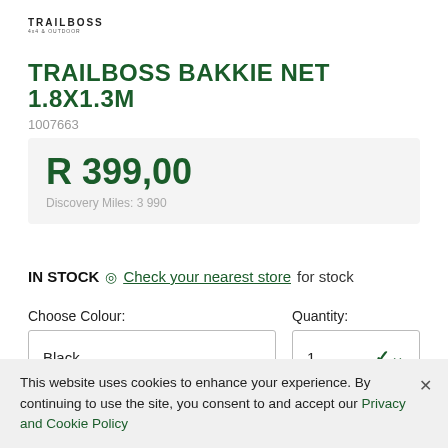[Figure (logo): TRAILBOSS logo with small tagline text below]
TRAILBOSS BAKKIE NET 1.8X1.3M
1007663
R 399,00
Discovery Miles: 3 990
IN STOCK  Check your nearest store for stock
Choose Colour:
Black
Quantity:
1
This website uses cookies to enhance your experience. By continuing to use the site, you consent to and accept our Privacy and Cookie Policy